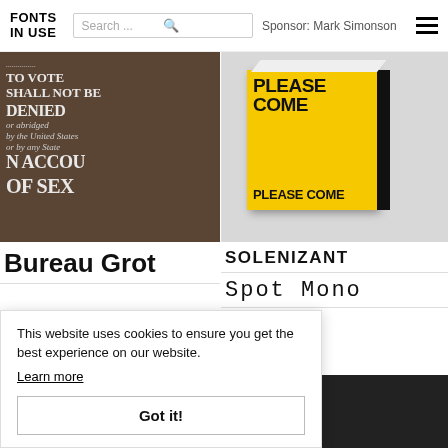FONTS IN USE | Search ... | Sponsor: Mark Simonson
[Figure (photo): Close-up of newspaper text showing 'TO VOTE SHALL NOT BE DENIED or abridged by the United States or by any State ON ACCOUNT OF SEX' in bold serif type]
Bureau Grot
[Figure (photo): Yellow book with black text reading 'PLEASE COME' on cover and spine, on white background]
SOLENIZANT
Spot Mono
[Figure (photo): Partially visible dark image at bottom left]
[Figure (photo): Colorful graphic with text 'SEKE CING HEDZOLEH SO' and a Staff Pick badge]
This website uses cookies to ensure you get the best experience on our website.
Learn more
Got it!